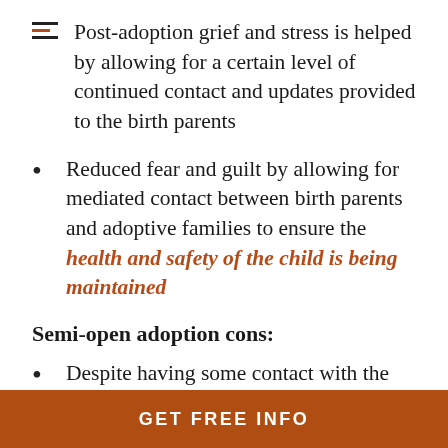Post-adoption grief and stress is helped by allowing for a certain level of continued contact and updates provided to the birth parents
Reduced fear and guilt by allowing for mediated contact between birth parents and adoptive families to ensure the health and safety of the child is being maintained
Semi-open adoption cons:
Despite having some contact with the adoptive family, a semi-open adoption
GET FREE INFO